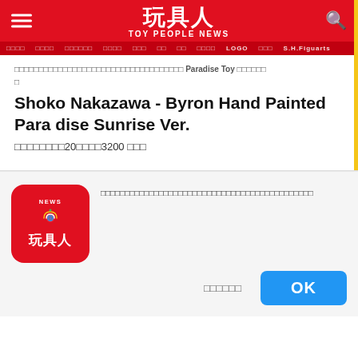玩具人 TOY PEOPLE NEWS — navigation header
□□□□□□□□□□□□□□□□□□□□□□□□□□□□□□□□□□□ Paradise Toy □□□□□□□
Shoko Nakazawa - Byron Hand Painted Paradise Sunrise Ver.
□□□□□□□□20□□□□3200 □□□
[Figure (logo): Toy People News red square logo with NEWS text, radio/broadcast icon, and Chinese characters 玩具人]
□□□□□□□□□□□□□□□□□□□□□□□□□□□□□□□□□□□□□□□□□□□□
□□□□□□
OK